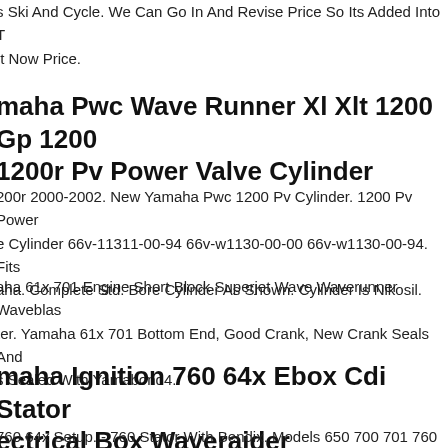s Ski And Cycle. We Can Go In And Revise Price So Its Added Into T It Now Price.
maha Pwc Wave Runner Xl Xlt 1200 Gp 1200 1200r Pv Power Valve Cylinder
200r 2000-2002. New Yamaha Pwc 1200 Pv Cylinder. 1200 Pv Power e Cylinder 66v-11311-00-94 66v-w1130-00-00 66v-w1130-00-94. Fits aha. Complete Std. Bore Cylinder As Shown. Cylinder Is Nikosil.
aha 61x 701 Engine Short Block Superjet Wave Waverunner Waveblas ter. Yamaha 61x 701 Bottom End, Good Crank, New Crank Seals And s Sealed With Yamabond4.
maha Ignition 760 64x Ebox Cdi Stator ectrical Box Waveraider Waveventure Gp
760 64x Setup. - 760 Stator With Bendix. Models 650 700 701 760 1 0 Wave Raider, Wave Venture, Vxr Pro, Wr3, Gp760, Gp, Xl, Superjet